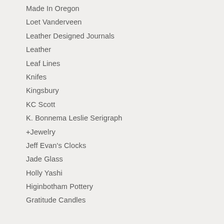Made In Oregon
Loet Vanderveen
Leather Designed Journals
Leather
Leaf Lines
Knifes
Kingsbury
KC Scott
K. Bonnema Leslie Serigraph
+Jewelry
Jeff Evan's Clocks
Jade Glass
Holly Yashi
Higinbotham Pottery
Gratitude Candles